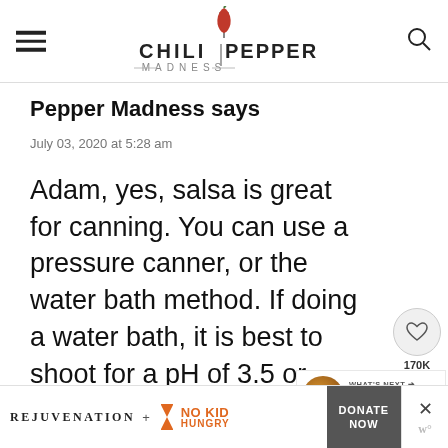Chili Pepper Madness
Pepper Madness says
July 03, 2020 at 5:28 am
Adam, yes, salsa is great for canning. You can use a pressure canner, or the water bath method. If doing a water bath, it is best to shoot for a pH of 3.5 or lower. You can add vinegar or
[Figure (infographic): Sidebar with heart/like icon showing 170K and share icon, plus What's Next thumbnail for Salsa Roja Recipe]
[Figure (infographic): Advertisement bar: Rejuvenation + No Kid Hungry, Donate Now button, close X, W logo]